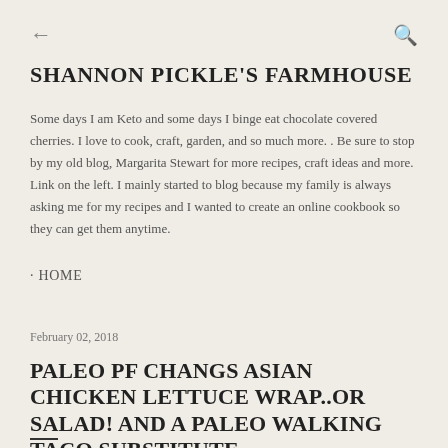←
SHANNON PICKLE'S FARMHOUSE
Some days I am Keto and some days I binge eat chocolate covered cherries. I love to cook, craft, garden, and so much more. . Be sure to stop by my old blog, Margarita Stewart for more recipes, craft ideas and more. Link on the left. I mainly started to blog because my family is always asking me for my recipes and I wanted to create an online cookbook so they can get them anytime.
· HOME
February 02, 2018
PALEO PF CHANGS ASIAN CHICKEN LETTUCE WRAP..OR SALAD! AND A PALEO WALKING TACO SUBSTITUTE